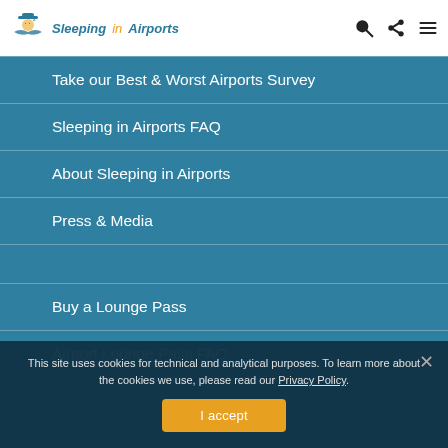Sleeping in Airports
Take our Best & Worst Airports Survey
Sleeping in Airports FAQ
About Sleeping in Airports
Press & Media
Buy a Lounge Pass
Airport Lounge Pass FAQ
This site uses cookies for technical and analytical purposes. To learn more about the cookies we use, please read our Privacy Policy.
I accept